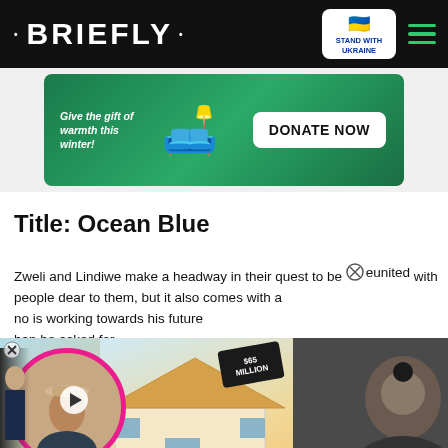• BRIEFLY •
[Figure (screenshot): Donate now banner ad with green background, sleeping bag illustration, and donate now button. Text: Give the gift of warmth this winter! DONATE NOW]
Title: Ocean Blue
Zweli and Lindiwe make a headway in their quest to be reunited with people dear to them, but it also comes with a [price. Someone] who is working towards his future [gets more] than he asked for.
[Figure (screenshot): Overlapping popup ad with couple photo in pink circle, house image with $65 MILLION price tag, and NO SIGNS OF SLOWING DOWN text. Red chevron/expand button visible.]
[Figure (screenshot): APNIC advertisement banner at bottom: Thank you for helping us measure the Internet.]